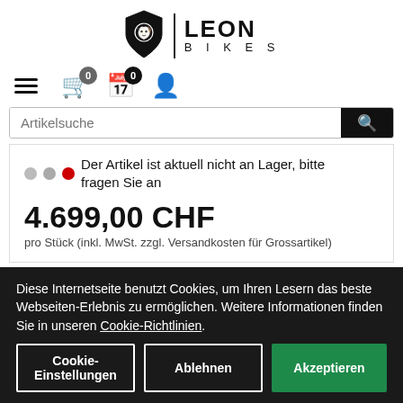[Figure (logo): Leon Bikes logo with shield and lion icon, vertical divider, text LEON BIKES]
[Figure (infographic): Navigation bar with hamburger menu, shopping cart with badge 0, calendar with badge 0, user icon]
[Figure (screenshot): Search bar with placeholder Artikelsuche and search button]
Der Artikel ist aktuell nicht an Lager, bitte fragen Sie an
4.699,00 CHF
pro Stück (inkl. MwSt. zzgl. Versandkosten für Grossartikel)
Diese Internetseite benutzt Cookies, um Ihren Lesern das beste Webseiten-Erlebnis zu ermöglichen. Weitere Informationen finden Sie in unseren Cookie-Richtlinien.
Cookie-Einstellungen
Ablehnen
Akzeptieren